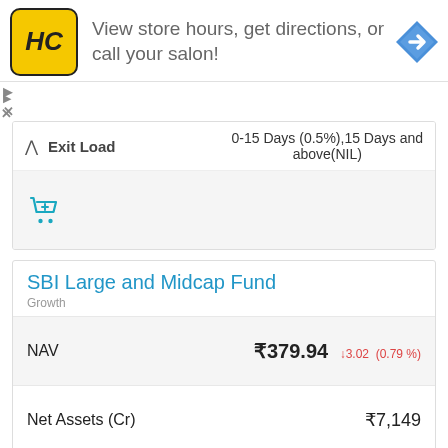[Figure (other): Advertisement banner for HC hair salon: yellow logo with HC letters, text 'View store hours, get directions, or call your salon!', blue navigation arrow icon]
|  |  |
| --- | --- |
| Exit Load | 0-15 Days (0.5%),15 Days and above(NIL) |
SBI Large and Midcap Fund
Growth
|  |  |
| --- | --- |
| NAV | ₹379.94  ↓3.02  (0.79%) |
| Net Assets (Cr) | ₹7,149 |
| 3 MO (%) | 12.7 |
| 6 MO (%) | 5.7 |